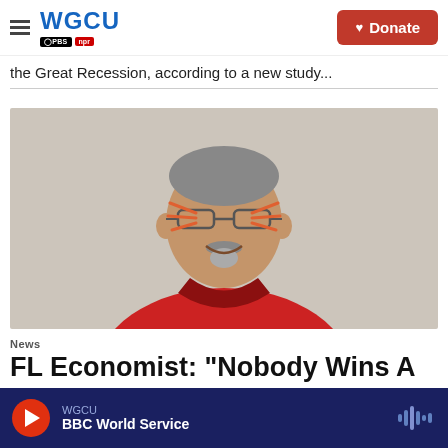WGCU PBS NPR — Donate
the Great Recession, according to a new study...
[Figure (photo): A man with cat face paint wearing a red polo shirt, smiling, standing against a beige wall.]
News
FL Economist: "Nobody Wins A...
WGCU — BBC World Service (audio player)